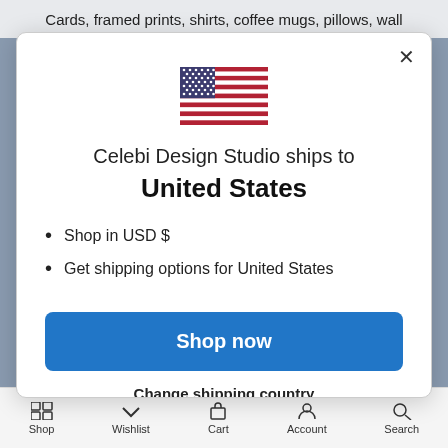Cards, framed prints, shirts, coffee mugs, pillows, wall
[Figure (illustration): US flag illustration inside a modal dialog]
Celebi Design Studio ships to
United States
Shop in USD $
Get shipping options for United States
Shop now
Change shipping country
Shop  Wishlist  Cart  Account  Search